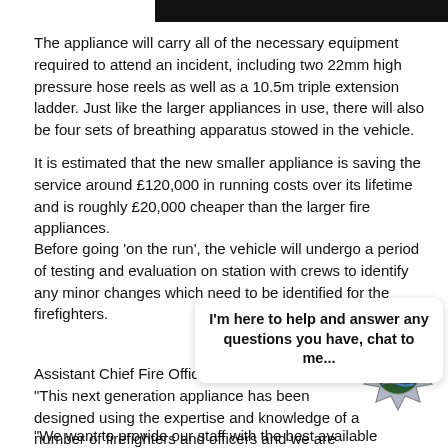[Figure (other): Black header bar at top of page]
The appliance will carry all of the necessary equipment required to attend an incident, including two 22mm high pressure hose reels as well as a 10.5m triple extension ladder. Just like the larger appliances in use, there will also be four sets of breathing apparatus stowed in the vehicle.
It is estimated that the new smaller appliance is saving the service around £120,000 in running costs over its lifetime and is roughly £20,000 cheaper than the larger fire appliances.
Before going ‘on the run’, the vehicle will undergo a period of testing and evaluation on station with crews to identify any minor changes which need to be identified for the firefighters.
I’m here to help and answer any questions you have, chat to me...
Assistant Chief Fire Officer, Tony Canin said: “This next generation appliance has been designed using the expertise and knowledge of a number of firefighters and officers and we are very excited about welcoming it into our service.
“We want to provide our staff with the best available equipment to